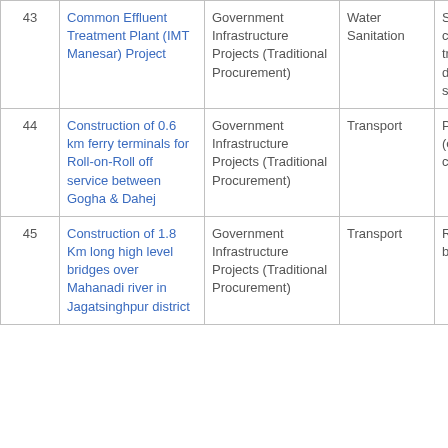| # | Project Name | Project Type | Sector | Sub-sector |
| --- | --- | --- | --- | --- |
| 43 | Common Effluent Treatment Plant (IMT Manesar) Project | Government Infrastructure Projects (Traditional Procurement) | Water Sanitation | Sewage collection treatment disposal system |
| 44 | Construction of 0.6 km ferry terminals for Roll-on-Roll off service between Gogha & Dahej | Government Infrastructure Projects (Traditional Procurement) | Transport | Ports (excluding captive) |
| 45 | Construction of 1.8 Km long high level bridges over Mahanadi river in Jagatsinghpur district | Government Infrastructure Projects (Traditional Procurement) | Transport | Roads and bridges |